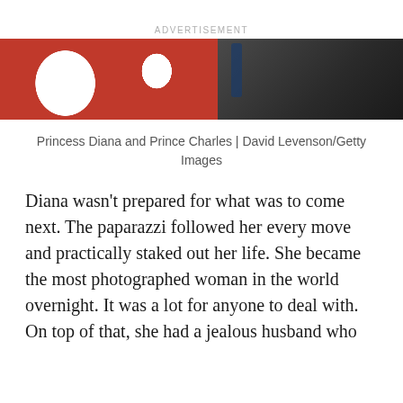[Figure (photo): Partial photo of Princess Diana and Prince Charles — left side shows red and white colors (flag-like), right side shows a person in a dark jacket]
Princess Diana and Prince Charles | David Levenson/Getty Images
Diana wasn't prepared for what was to come next. The paparazzi followed her every move and practically staked out her life. She became the most photographed woman in the world overnight. It was a lot for anyone to deal with. On top of that, she had a jealous husband who